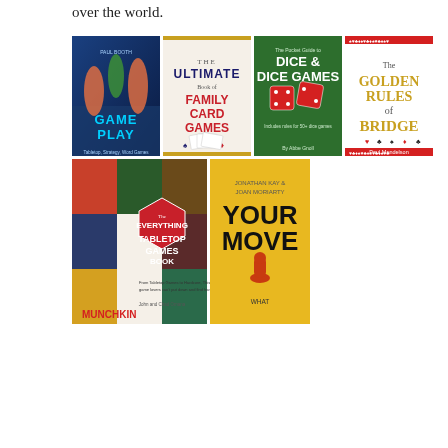over the world.
[Figure (illustration): Grid of 11 board game and card game book covers including: Game Play, The Ultimate Book of Family Card Games, Dice & Dice Games, The Golden Rules of Bridge, The Everything Tabletop Games Book, Your Move, It's All Game, 250 World's Best Card Games, Tortured Cardboard, Chess & Bridge, Board Games in 100 Moves]